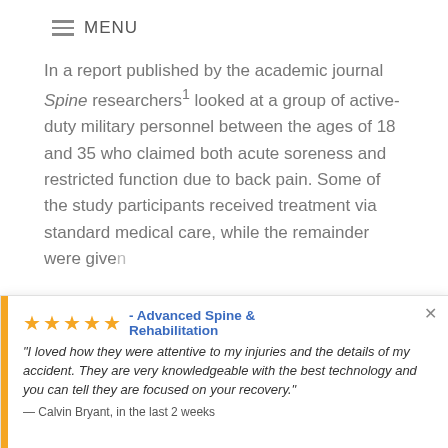≡ MENU
In a report published by the academic journal Spine researchers¹ looked at a group of active-duty military personnel between the ages of 18 and 35 who claimed both acute soreness and restricted function due to back pain. Some of the study participants received treatment via standard medical care, while the remainder were give...
[Figure (other): Review popup widget with orange left bar, 5 gold stars, 'Advanced Spine & Rehabilitation' title in blue, italic review quote from Calvin Bryant, and 'by Review Wave' attribution. Close X button in top right.]